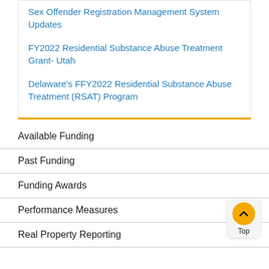Sex Offender Registration Management System Updates
FY2022 Residential Substance Abuse Treatment Grant- Utah
Delaware's FFY2022 Residential Substance Abuse Treatment (RSAT) Program
Available Funding
Past Funding
Funding Awards
Performance Measures
Real Property Reporting